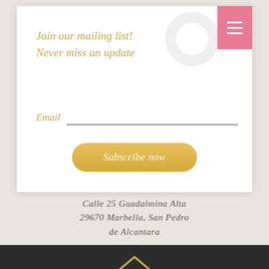Join our mailing list!
Never miss an update
Email
Subscribe now
Calle 25 Guadalmina Alta 29670 Marbella, San Pedro de Alcantara
[Figure (screenshot): Dark panel with up chevron arrow and digit roller showing 0 0 1 1 0 1 2, with green circle button with three dots]